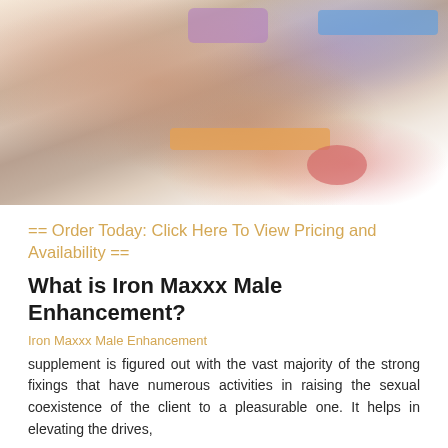[Figure (photo): Blurred product photo showing supplements/pills with colorful packaging elements including blue, purple, orange and pink tones]
== Order Today: Click Here To View Pricing and Availability ==
What is Iron Maxxx Male Enhancement?
Iron Maxxx Male Enhancement
supplement is figured out with the vast majority of the strong fixings that have numerous activities in raising the sexual coexistence of the client to a pleasurable one. It helps in elevating the drives,